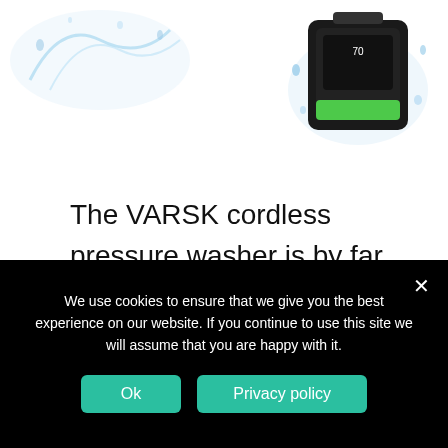[Figure (photo): Product photo showing a cordless pressure washer with water splash on the left and a black battery device with green accent on the right, water droplets visible]
The VARSK cordless pressure washer is by far the most compact on this list. It only weighs 3.7 lbs and can be operated using one hand. Explore its six different nozzle
We use cookies to ensure that we give you the best experience on our website. If you continue to use this site we will assume that you are happy with it.